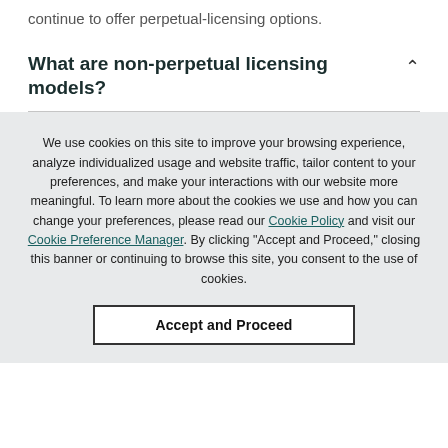continue to offer perpetual-licensing options.
What are non-perpetual licensing models?
We use cookies on this site to improve your browsing experience, analyze individualized usage and website traffic, tailor content to your preferences, and make your interactions with our website more meaningful. To learn more about the cookies we use and how you can change your preferences, please read our Cookie Policy and visit our Cookie Preference Manager. By clicking "Accept and Proceed," closing this banner or continuing to browse this site, you consent to the use of cookies.
Accept and Proceed